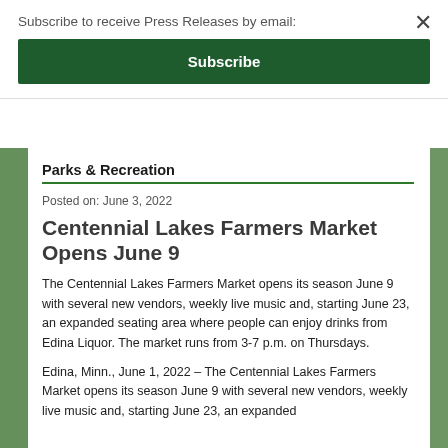Subscribe to receive Press Releases by email:
Subscribe
Parks & Recreation
Posted on: June 3, 2022
Centennial Lakes Farmers Market Opens June 9
The Centennial Lakes Farmers Market opens its season June 9 with several new vendors, weekly live music and, starting June 23, an expanded seating area where people can enjoy drinks from Edina Liquor. The market runs from 3-7 p.m. on Thursdays.
Edina, Minn., June 1, 2022 – The Centennial Lakes Farmers Market opens its season June 9 with several new vendors, weekly live music and, starting June 23, an expanded